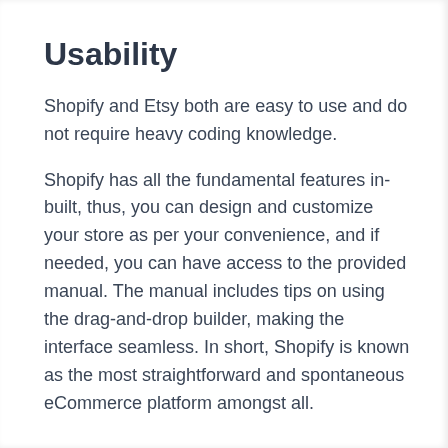Usability
Shopify and Etsy both are easy to use and do not require heavy coding knowledge.
Shopify has all the fundamental features in-built, thus, you can design and customize your store as per your convenience, and if needed, you can have access to the provided manual. The manual includes tips on using the drag-and-drop builder, making the interface seamless. In short, Shopify is known as the most straightforward and spontaneous eCommerce platform amongst all.